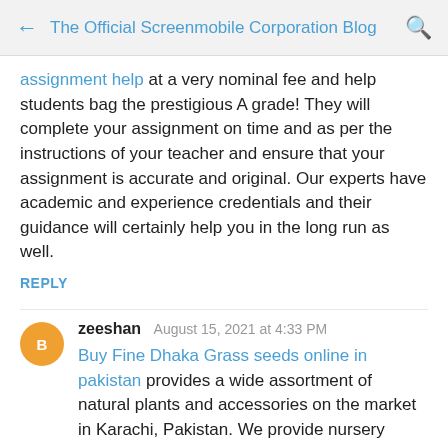The Official Screenmobile Corporation Blog
assignment help at a very nominal fee and help students bag the prestigious A grade! They will complete your assignment on time and as per the instructions of your teacher and ensure that your assignment is accurate and original. Our experts have academic and experience credentials and their guidance will certainly help you in the long run as well.
REPLY
zeeshan August 15, 2021 at 4:33 PM
Buy Fine Dhaka Grass seeds online in pakistan provides a wide assortment of natural plants and accessories on the market in Karachi, Pakistan. We provide nursery plants, plants, bulbs, pebbles, p
REPLY